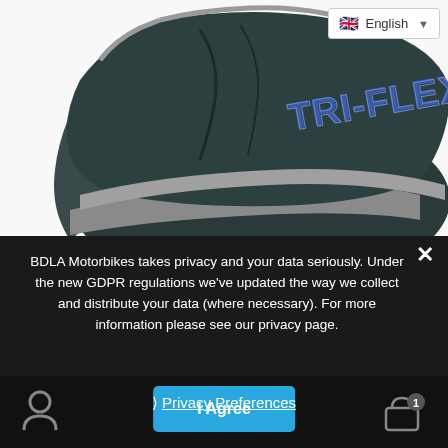[Figure (photo): Motorcycle cover product photo showing a dark teal/black cover with silver trim and 'TRI-FLEX' branding in blue lettering on a white background]
BDLA Motorbikes takes privacy and your data seriously. Under the new GDPR regulations we've updated the way we collect and distribute your data (where necessary). For more information please see our privacy page.
❯ Privacy Preferences
I Agree